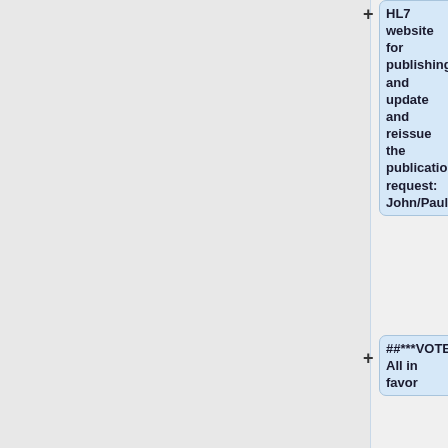HL7 website for publishing, and update and reissue the publication request: John/Paul
##***VOTE: All in favor
## [https://gforge.hl7.org/gf/download/trackeritem/14110/15864/HL7_Structured%20Form%20Definition%20Document_Extension_Request_2017October.docx STU Extension Request] by the